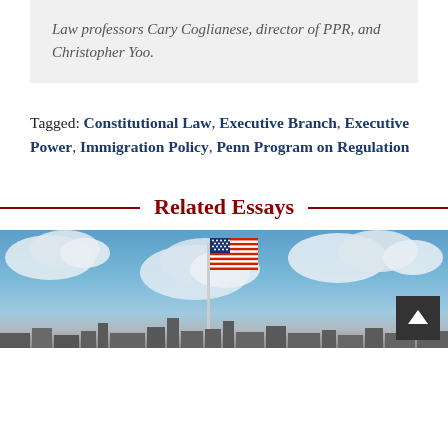Law professors Cary Coglianese, director of PPR, and Christopher Yoo.
Tagged: Constitutional Law, Executive Branch, Executive Power, Immigration Policy, Penn Program on Regulation
Related Essays
[Figure (photo): Photograph of an American flag on a flagpole against a blue sky with white clouds and building silhouettes at the bottom.]